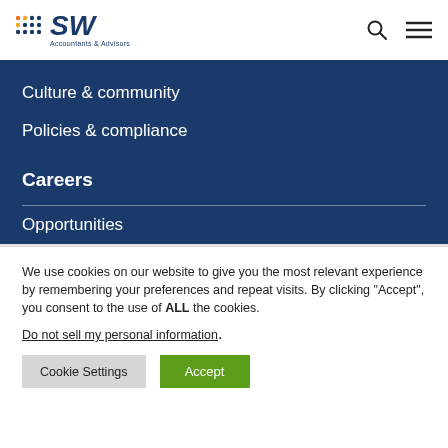[Figure (logo): SW Accountants & Advisors logo with dotted icon and italic SW text]
Culture & community
Policies & compliance
Careers
Opportunities
We use cookies on our website to give you the most relevant experience by remembering your preferences and repeat visits. By clicking “Accept”, you consent to the use of ALL the cookies.
Do not sell my personal information.
Cookie Settings  Accept